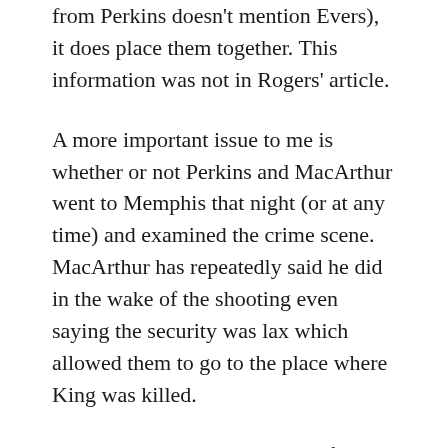from Perkins doesn't mention Evers), it does place them together. This information was not in Rogers' article.
A more important issue to me is whether or not Perkins and MacArthur went to Memphis that night (or at any time) and examined the crime scene. MacArthur has repeatedly said he did in the wake of the shooting even saying the security was lax which allowed them to go to the place where King was killed.
This seems unlikely since a curfew had been imposed and reportedly security was tight at the Lorraine Motel according to available police records. The Rogers' article did an admirable job of bringing this information to the...